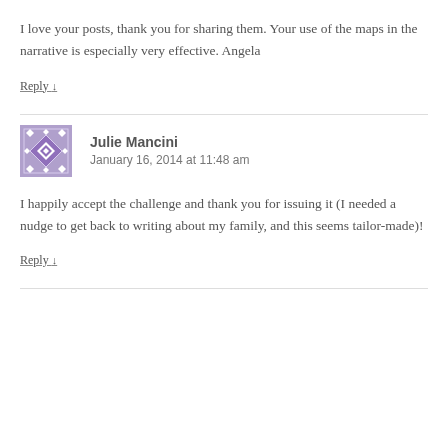I love your posts, thank you for sharing them. Your use of the maps in the narrative is especially very effective. Angela
Reply ↓
Julie Mancini
January 16, 2014 at 11:48 am
I happily accept the challenge and thank you for issuing it (I needed a nudge to get back to writing about my family, and this seems tailor-made)!
Reply ↓